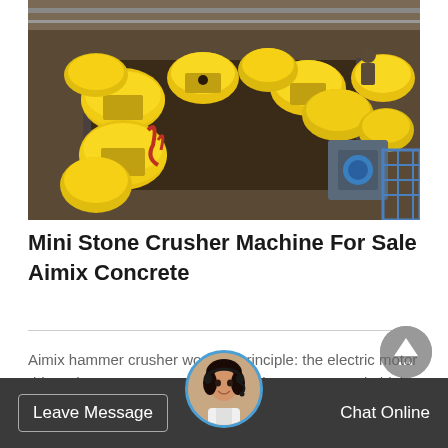[Figure (photo): Industrial factory floor showing rows of yellow dome-shaped crusher/grinder machines on a production line conveyor belt, viewed from an elevated angle. The machines are bright yellow, arranged in two parallel rows, in a large industrial hall.]
Mini Stone Crusher Machine For Sale Aimix Concrete
Aimix hammer crusher working principle: the electric motor drives the rotor moves, making the hammer rotate in high speed. the materials are crushed in the crusher by the rotate...
Leave Message | Chat Online